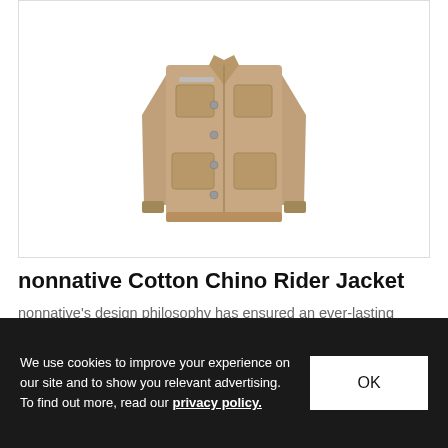[Figure (photo): A tan/khaki cotton chino rider jacket with multiple front pockets, snap buttons, and long sleeves, displayed on a white background.]
nonnative Cotton Chino Rider Jacket
nonnative's design philosophy has ensured an ever-lasting range of timeless apparel and footwear.
Fashion  Sep 29, 2012  🔥 126  💬 0
We use cookies to improve your experience on our site and to show you relevant advertising. To find out more, read our privacy policy.